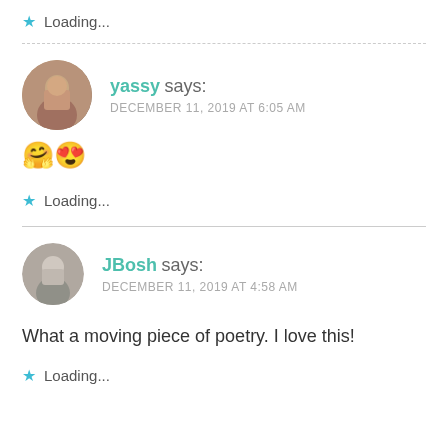Loading...
yassy says: DECEMBER 11, 2019 AT 6:05 AM 🤗😍 Loading...
JBosh says: DECEMBER 11, 2019 AT 4:58 AM What a moving piece of poetry. I love this! Loading...